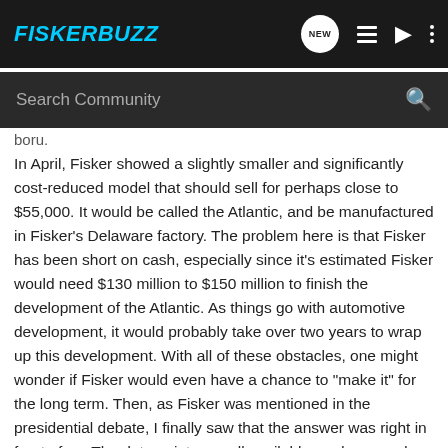FISKERBUZZ
Search Community
boru.
In April, Fisker showed a slightly smaller and significantly cost-reduced model that should sell for perhaps close to $55,000. It would be called the Atlantic, and be manufactured in Fisker's Delaware factory. The problem here is that Fisker has been short on cash, especially since it's estimated Fisker would need $130 million to $150 million to finish the development of the Atlantic. As things go with automotive development, it would probably take over two years to wrap up this development. With all of these obstacles, one might wonder if Fisker would even have a chance to "make it" for the long term. Then, as Fisker was mentioned in the presidential debate, I finally saw that the answer was right in front of us. The data points are all available, and we need only to connect the dots. Let's take them in turn: